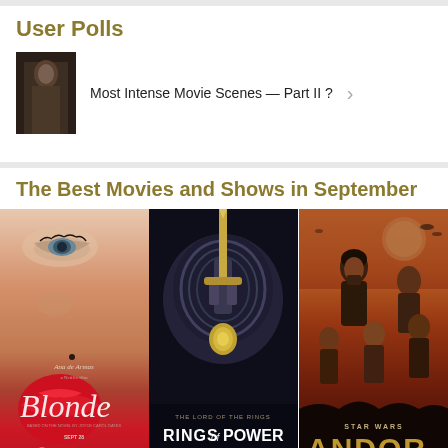User Polls
Most Intense Movie Scenes — Part II ?
The Best Movies and Shows in September
[Figure (photo): Three movie/show posters side by side: Blonde (Ana de Armas), The Lord of the Rings: The Rings of Power, and Star Wars: Andor]